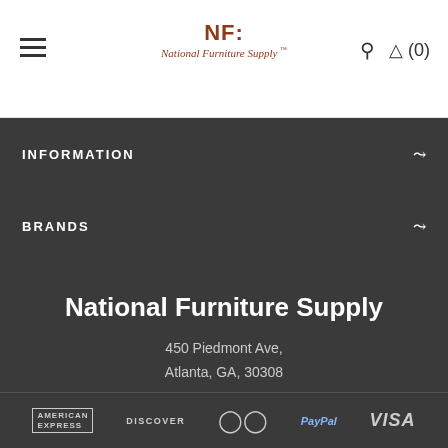[Figure (logo): National Furniture Supply logo with NF monogram and full name]
INFORMATION
BRANDS
National Furniture Supply
450 Piedmont Ave, Atlanta, GA, 30308
404-480-4585
[Figure (logo): Payment method logos: American Express, Discover, Mastercard, PayPal, Visa]